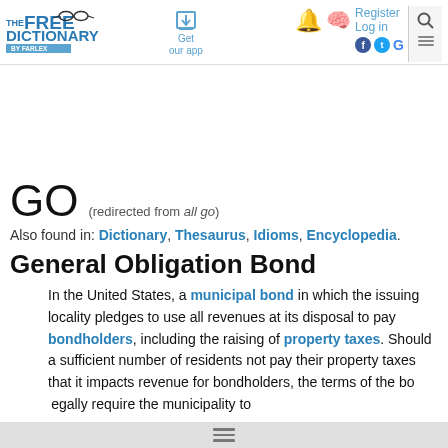THE FREE DICTIONARY by Farlex — Get our app — Register Log in
GO (redirected from all go)
Also found in: Dictionary, Thesaurus, Idioms, Encyclopedia.
General Obligation Bond
In the United States, a municipal bond in which the issuing locality pledges to use all revenues at its disposal to pay bondholders, including the raising of property taxes. Should a sufficient number of residents not pay their property taxes that it impacts revenue for bondholders, the terms of the bond legally require the municipality to